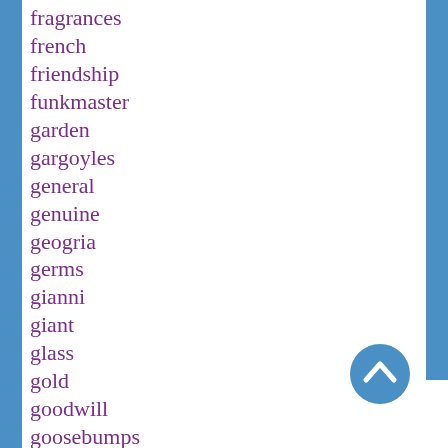fragrances
french
friendship
funkmaster
garden
gargoyles
general
genuine
geogria
germs
gianni
giant
glass
gold
goodwill
goosebumps
gorgeous
gravedigger
greece
green
gucci
[Figure (illustration): Blue circular scroll-to-top button with a white upward-pointing chevron arrow]